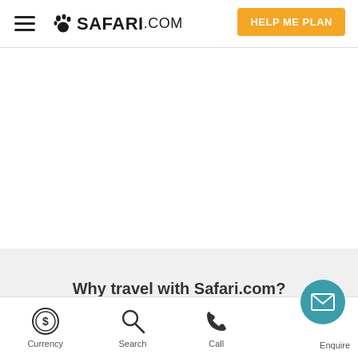🐾SAFARI.COM  HELP ME PLAN
Why travel with Safari.com?
Currency  Search  Call  Enquire